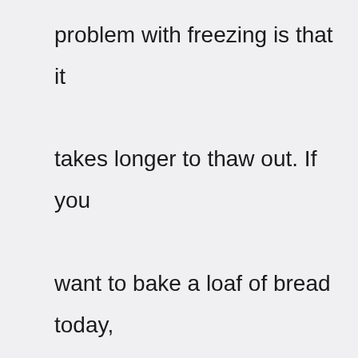problem with freezing is that it takes longer to thaw out. If you want to bake a loaf of bread today, you'll need to let it rise for several hours before baking.

Bread dough rises because yeast feeds off sugar and water. When you refrigerate your dough, the